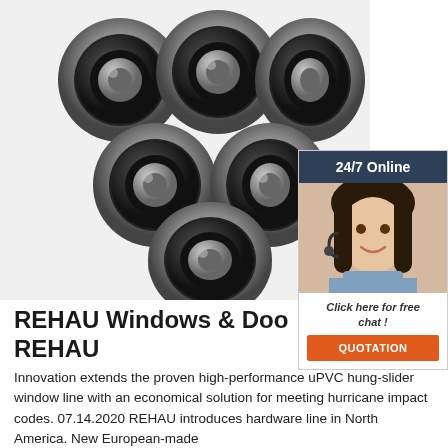[Figure (photo): Six black rubber-sealed ball bearings arranged in a cluster on a white background]
[Figure (photo): 24/7 Online customer support chat widget with agent photo, 'Click here for free chat!' text and orange QUOTATION button]
REHAU Windows & Doors REHAU
Innovation extends the proven high-performance uPVC hung-slider window line with an economical solution for meeting hurricane impact codes. 07.14.2020 REHAU introduces hardware line in North America. New European-made